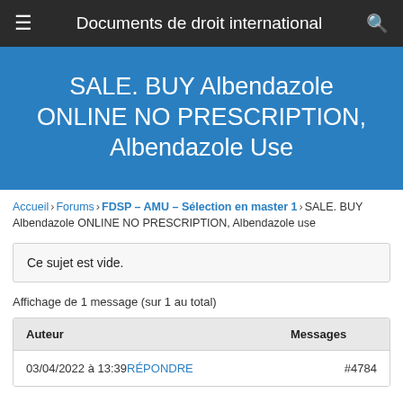Documents de droit international
SALE. BUY Albendazole ONLINE NO PRESCRIPTION, Albendazole Use
Accueil › Forums › FDSP – AMU – Sélection en master 1 › SALE. BUY Albendazole ONLINE NO PRESCRIPTION, Albendazole use
Ce sujet est vide.
Affichage de 1 message (sur 1 au total)
| Auteur | Messages |
| --- | --- |
| 03/04/2022 à 13:39RÉPONDRE | #4784 |